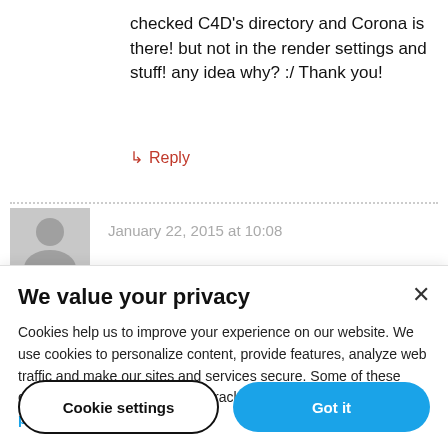checked C4D's directory and Corona is there! but not in the render settings and stuff! any idea why? :/ Thank you!
↳ Reply
January 22, 2015 at 10:08
We value your privacy
Cookies help us to improve your experience on our website. We use cookies to personalize content, provide features, analyze web traffic and make our sites and services secure. Some of these cookies also help improve and track our marketing efforts. Cookie policy
Cookie settings
Got it